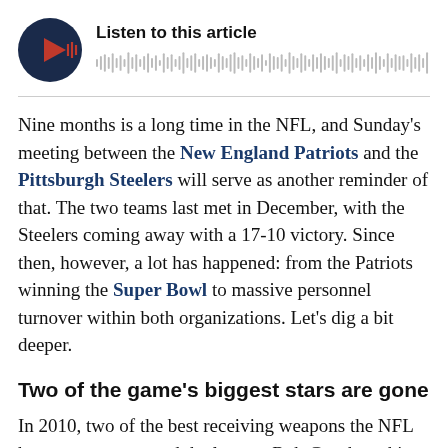[Figure (other): Audio player widget with dark navy circular play button (red triangle icon with waveform lines) and a waveform/progress bar. Label reads 'Listen to this article'.]
Nine months is a long time in the NFL, and Sunday's meeting between the New England Patriots and the Pittsburgh Steelers will serve as another reminder of that. The two teams last met in December, with the Steelers coming away with a 17-10 victory. Since then, however, a lot has happened: from the Patriots winning the Super Bowl to massive personnel turnover within both organizations. Let's dig a bit deeper.
Two of the game's biggest stars are gone
In 2010, two of the best receiving weapons the NFL has ever seen entered the league: Rob Gronkowski and Antonio Brown were drafted by the Patriots and